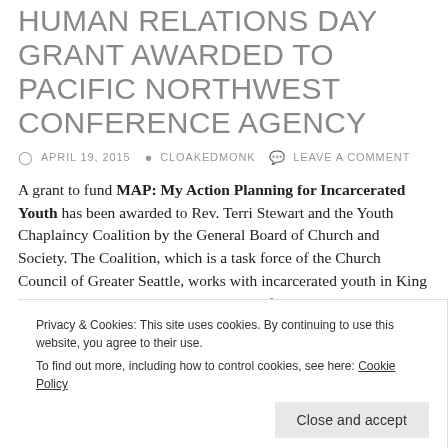HUMAN RELATIONS DAY GRANT AWARDED TO PACIFIC NORTHWEST CONFERENCE AGENCY
APRIL 19, 2015   CLOAKEDMONK   LEAVE A COMMENT
A grant to fund MAP: My Action Planning for Incarcerated Youth has been awarded to Rev. Terri Stewart and the Youth Chaplaincy Coalition by the General Board of Church and Society. The Coalition, which is a task force of the Church Council of Greater Seattle, works with incarcerated youth in King County and Washington State detention facilities. With t... t... t... p...
Privacy & Cookies: This site uses cookies. By continuing to use this website, you agree to their use. To find out more, including how to control cookies, see here: Cookie Policy